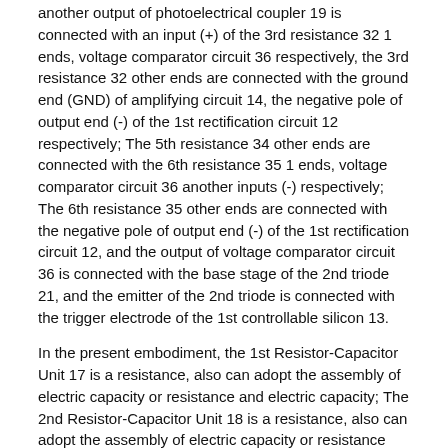another output of photoelectrical coupler 19 is connected with an input (+) of the 3rd resistance 32 1 ends, voltage comparator circuit 36 respectively, the 3rd resistance 32 other ends are connected with the ground end (GND) of amplifying circuit 14, the negative pole of output end (-) of the 1st rectification circuit 12 respectively; The 5th resistance 34 other ends are connected with the 6th resistance 35 1 ends, voltage comparator circuit 36 another inputs (-) respectively; The 6th resistance 35 other ends are connected with the negative pole of output end (-) of the 1st rectification circuit 12, and the output of voltage comparator circuit 36 is connected with the base stage of the 2nd triode 21, and the emitter of the 2nd triode is connected with the trigger electrode of the 1st controllable silicon 13.
In the present embodiment, the 1st Resistor-Capacitor Unit 17 is a resistance, also can adopt the assembly of electric capacity or resistance and electric capacity; The 2nd Resistor-Capacitor Unit 18 is a resistance, also can adopt the assembly of electric capacity or resistance and electric capacity.
In the present embodiment, the inside of photoelectrical